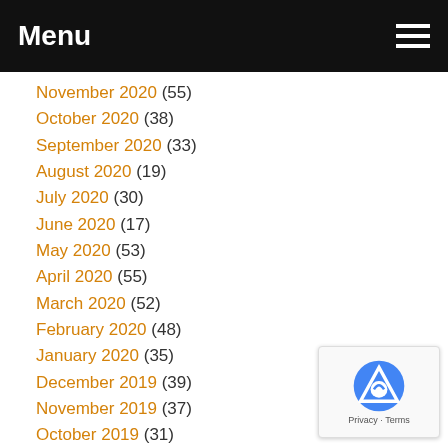Menu
November 2020 (55)
October 2020 (38)
September 2020 (33)
August 2020 (19)
July 2020 (30)
June 2020 (17)
May 2020 (53)
April 2020 (55)
March 2020 (52)
February 2020 (48)
January 2020 (35)
December 2019 (39)
November 2019 (37)
October 2019 (31)
September 2019 (55)
August 2019 (21)
July 2019 (15)
June 2019 (22)
May 2019 (38)